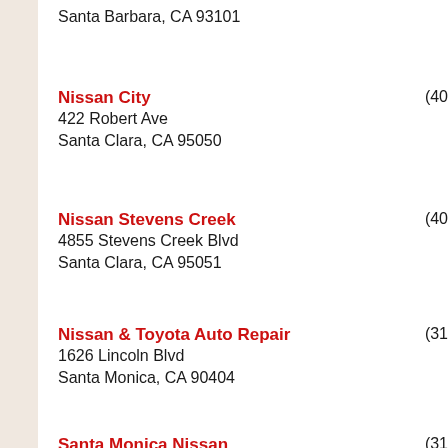Santa Barbara, CA 93101
Nissan City
422 Robert Ave
Santa Clara, CA 95050
(40...
Nissan Stevens Creek
4855 Stevens Creek Blvd
Santa Clara, CA 95051
(40...
Nissan & Toyota Auto Repair
1626 Lincoln Blvd
Santa Monica, CA 90404
(31...
Santa Monica Nissan
1599 Santa Monica Blvd
Santa Monica, CA 90404
(31...